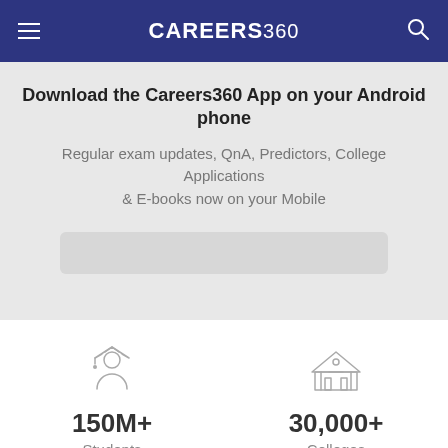CAREERS360
Download the Careers360 App on your Android phone
Regular exam updates, QnA, Predictors, College Applications & E-books now on your Mobile
150M+ Students
30,000+ Colleges
500+
1500+